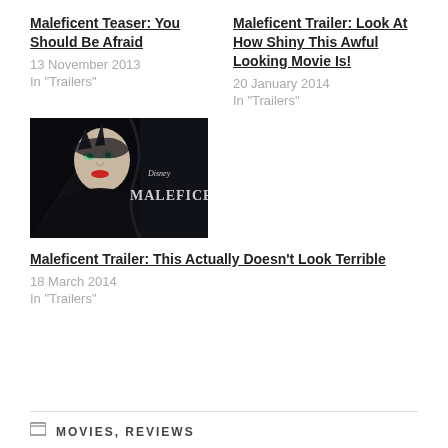Maleficent Teaser: You Should Be Afraid
13 November 2013
In "Trailers"
Maleficent Trailer: Look At How Shiny This Awful Looking Movie Is!
20 January 2014
In "Trailers"
[Figure (photo): Maleficent movie promotional image showing a dark figure with horns and glowing eyes, with Disney Maleficent logo text]
Maleficent Trailer: This Actually Doesn't Look Terrible
18 March 2014
In "Trailers"
MOVIES, REVIEWS